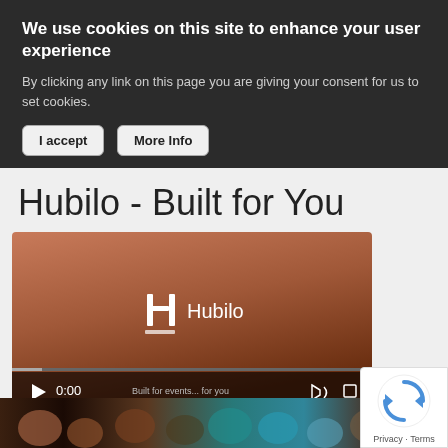We use cookies on this site to enhance your user experience
By clicking any link on this page you are giving your consent for us to set cookies.
I accept | More Info
Hubilo - Built for You
[Figure (screenshot): Video player thumbnail showing Hubilo logo and video controls at 0:00]
SUPPLIER DIRECTORY
[Figure (photo): Photo strip showing colorful paper lanterns in blue, orange, and brown tones]
[Figure (other): reCAPTCHA badge with Privacy and Terms links]